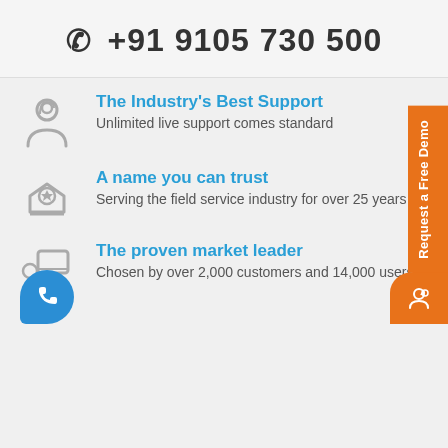☎ +91 9105 730 500
The Industry's Best Support — Unlimited live support comes standard
A name you can trust — Serving the field service industry for over 25 years
The proven market leader — Chosen by over 2,000 customers and 14,000 users
Request a Free Demo